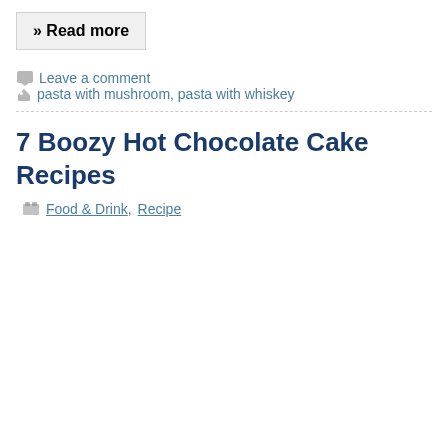» Read more
Leave a comment   pasta with mushroom, pasta with whiskey
7 Boozy Hot Chocolate Cake Recipes
Food & Drink, Recipe